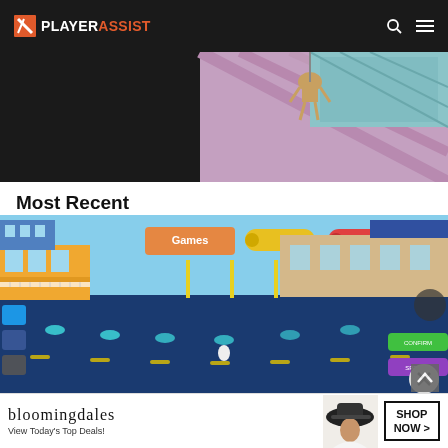PlayerAssist
[Figure (screenshot): Partial game screenshot showing a dark/purple isometric scene with a hanging character, cropped at top]
Most Recent
[Figure (screenshot): Game screenshot showing a colorful city street scene in Roblox-style with buildings, a dark road with glowing blue dots, and various UI buttons]
[Figure (other): Bloomingdale's advertisement banner reading 'View Today's Top Deals!' with a SHOP NOW button and an image of a woman in a hat]